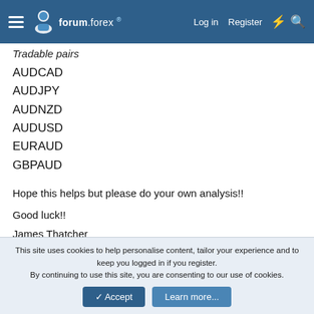forum.forex — Log in | Register
Tradable pairs
AUDCAD
AUDJPY
AUDNZD
AUDUSD
EURAUD
GBPAUD
Hope this helps but please do your own analysis!!
Good luck!!
James Thatcher
This site uses cookies to help personalise content, tailor your experience and to keep you logged in if you register.
By continuing to use this site, you are consenting to our use of cookies.